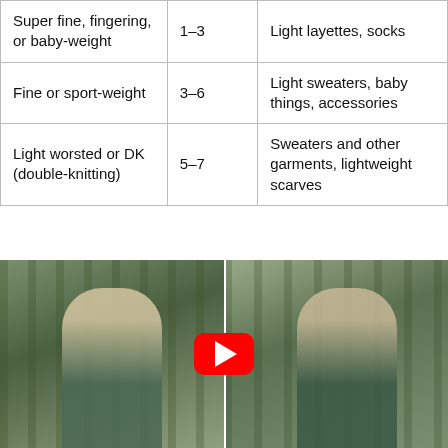| Super fine, fingering, or baby-weight | 1–3 | Light layettes, socks |
| Fine or sport-weight | 3–6 | Light sweaters, baby things, accessories |
| Light worsted or DK (double-knitting) | 5–7 | Sweaters and other garments, lightweight scarves |
[Figure (photo): A woman wearing a floral headband/crown and a knitted lace scarf, photographed in a forest setting. The image appears as a split two-panel photo showing different angles of the same or similar scene. A YouTube play button overlay is centered between the panels, indicating an embedded video.]